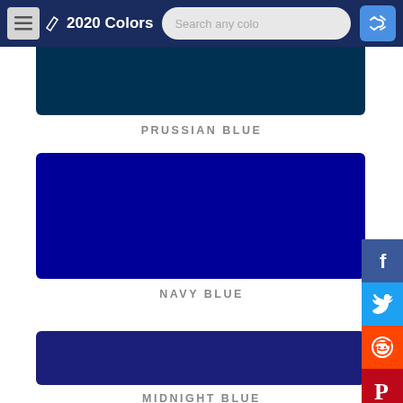2020 Colors
[Figure (illustration): Prussian Blue color swatch (dark teal-blue rectangle)]
PRUSSIAN BLUE
[Figure (illustration): Navy Blue color swatch (dark navy rectangle)]
NAVY BLUE
[Figure (illustration): Midnight Blue color swatch (dark blue rectangle)]
MIDNIGHT BLUE